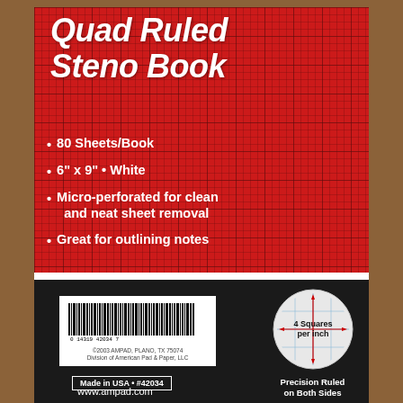Quad Ruled Steno Book
80 Sheets/Book
6" x 9" • White
Micro-perforated for clean and neat sheet removal
Great for outlining notes
[Figure (illustration): Circle diagram showing quad-ruled grid with arrows indicating 4 Squares per inch]
Precision Ruled on Both Sides
[Figure (other): Barcode: 0 14319 42034 7]
©2003 AMPAD, PLANO, TX 75074
Division of American Pad & Paper, LLC
Made in USA • #42034
www.ampad.com